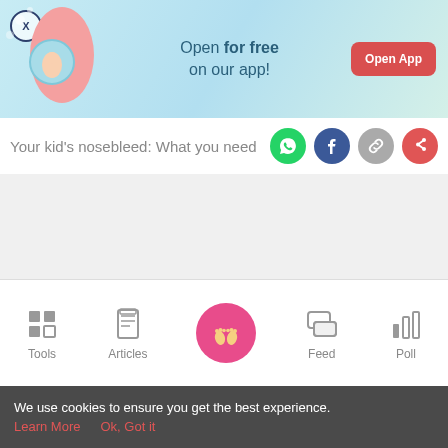[Figure (infographic): App promotion banner with pregnant woman illustration, light blue background. Text: 'Open for free on our app!' with a red 'Open App' button and an X close button.]
Your kid's nosebleed: What you need
[Figure (infographic): Social share icons: WhatsApp (green), Facebook (dark blue), link (gray), share (red)]
[Figure (infographic): Bottom navigation bar with icons: Tools (grid), Articles (clipboard), center home (feet on pink circle), Feed (chat bubbles), Poll (bar chart)]
We use cookies to ensure you get the best experience.
Learn More   Ok, Got it